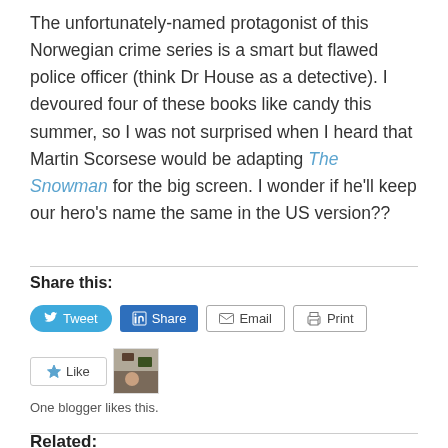The unfortunately-named protagonist of this Norwegian crime series is a smart but flawed police officer (think Dr House as a detective). I devoured four of these books like candy this summer, so I was not surprised when I heard that Martin Scorsese would be adapting The Snowman for the big screen. I wonder if he'll keep our hero's name the same in the US version??
Share this:
Tweet | Share | Email | Print
One blogger likes this.
Related: